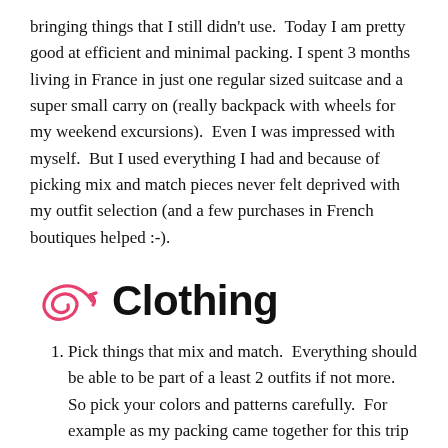bringing things that I still didn't use.  Today I am pretty good at efficient and minimal packing. I spent 3 months living in France in just one regular sized suitcase and a super small carry on (really backpack with wheels for my weekend excursions).  Even I was impressed with myself.  But I used everything I had and because of picking mix and match pieces never felt deprived with my outfit selection (and a few purchases in French boutiques helped :-).
Clothing
Pick things that mix and match.  Everything should be able to be part of a least 2 outfits if not more.  So pick your colors and patterns carefully.  For example as my packing came together for this trip I ended up with a navy, off-white, and black theme with a few pops of color added by tank tops, scarves, and accessories.